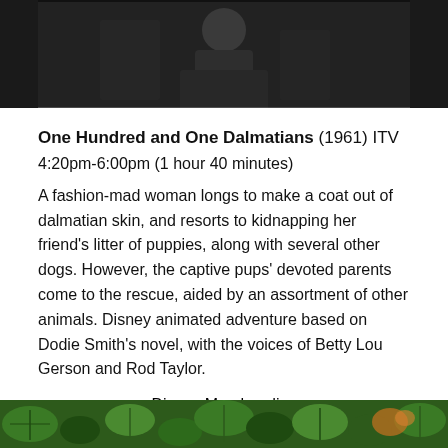[Figure (photo): Black and white photo of a person, partially visible at the top of the page]
One Hundred and One Dalmatians (1961) ITV
4:20pm-6:00pm (1 hour 40 minutes)
A fashion-mad woman longs to make a coat out of dalmatian skin, and resorts to kidnapping her friend's litter of puppies, along with several other dogs. However, the captive pups' devoted parents come to the rescue, aided by an assortment of other animals. Disney animated adventure based on Dodie Smith's novel, with the voices of Betty Lou Gerson and Rod Taylor.
Disney Merchandise
[Figure (photo): Green jungle/foliage scene visible at the bottom of the page]